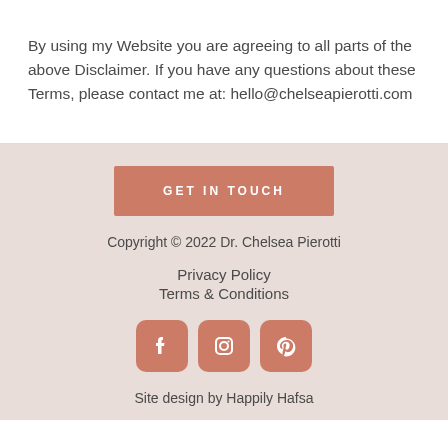By using my Website you are agreeing to all parts of the above Disclaimer. If you have any questions about these Terms, please contact me at: hello@chelseapierotti.com
GET IN TOUCH
Copyright © 2022 Dr. Chelsea Pierotti
Privacy Policy
Terms & Conditions
[Figure (infographic): Three social media icon buttons: Facebook, Instagram, Pinterest — rounded square buttons in salmon/terracotta color]
Site design by Happily Hafsa